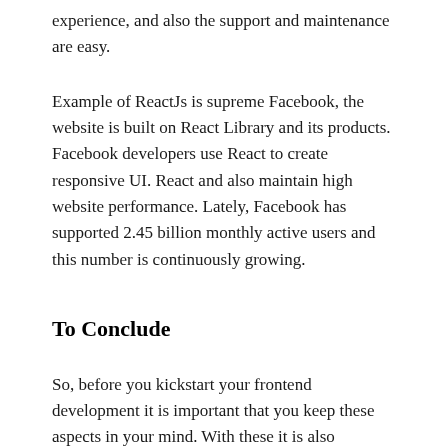experience, and also the support and maintenance are easy.
Example of ReactJs is supreme Facebook, the website is built on React Library and its products. Facebook developers use React to create responsive UI. React and also maintain high website performance. Lately, Facebook has supported 2.45 billion monthly active users and this number is continuously growing.
To Conclude
So, before you kickstart your frontend development it is important that you keep these aspects in your mind. With these it is also necessary for you to know that the learning curve of these two technologies are very different. As ReactJs is